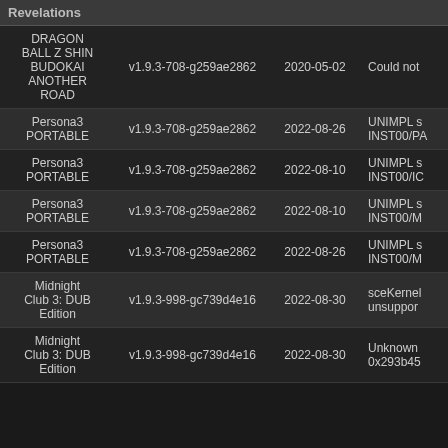| Game | Version | Date | Error |
| --- | --- | --- | --- |
| DRAGON BALL Z SHIN BUDOKAI ANOTHER ROAD | v1.9.3-708-g259ae2862 | 2020-05-02 | Could not |
| Persona3 PORTABLE | v1.9.3-708-g259ae2862 | 2022-08-26 | UNIMPL s INST00/PA |
| Persona3 PORTABLE | v1.9.3-708-g259ae2862 | 2022-08-10 | UNIMPL s INST00/IC |
| Persona3 PORTABLE | v1.9.3-708-g259ae2862 | 2022-08-10 | UNIMPL s INST00/M |
| Persona3 PORTABLE | v1.9.3-708-g259ae2862 | 2022-08-26 | UNIMPL s INST00/M |
| Midnight Club 3: DUB Edition | v1.9.3-998-gc739d4e16 | 2022-08-30 | sceKernel unsuppor |
| Midnight Club 3: DUB Edition | v1.9.3-998-gc739d4e16 | 2022-08-30 | Unknown 0x293b45 |